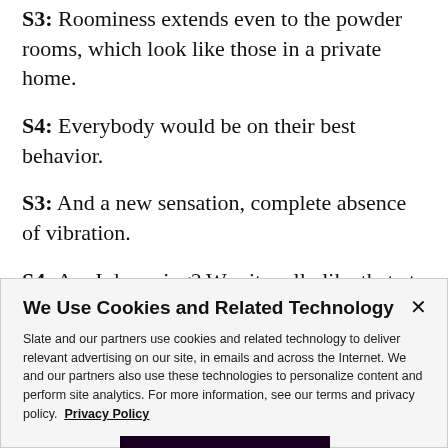S3: Roominess extends even to the powder rooms, which look like those in a private home.
S4: Everybody would be on their best behavior.
S3: And a new sensation, complete absence of vibration.
S4: Am I dreaming? Was it really like that at some point in the 60s, you know, early, mid 70s?
We Use Cookies and Related Technology
Slate and our partners use cookies and related technology to deliver relevant advertising on our site, in emails and across the Internet. We and our partners also use these technologies to personalize content and perform site analytics. For more information, see our terms and privacy policy. Privacy Policy
OK